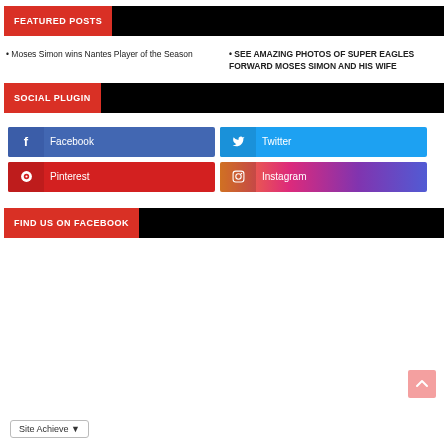FEATURED POSTS
• Moses Simon wins Nantes Player of the Season
• SEE AMAZING PHOTOS OF SUPER EAGLES FORWARD MOSES SIMON AND HIS WIFE
SOCIAL PLUGIN
Facebook
Twitter
Pinterest
Instagram
FIND US ON FACEBOOK
Site Achieve